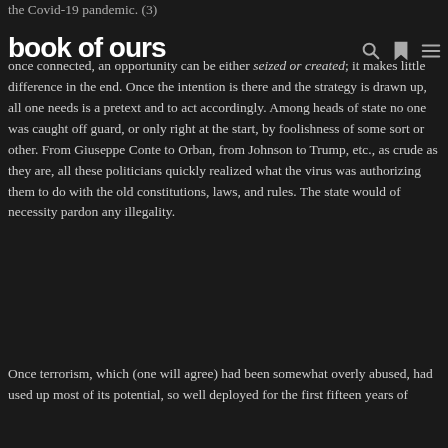book of ours
once connected, an opportunity can be either seized or created; it makes little difference in the end. Once the intention is there and the strategy is drawn up, all one needs is a pretext and to act accordingly. Among heads of state no one was caught off guard, or only right at the start, by foolishness of some sort or other. From Giuseppe Conte to Orban, from Johnson to Trump, etc., as crude as they are, all these politicians quickly realized what the virus was authorizing them to do with the old constitutions, laws, and rules. The state would of necessity pardon any illegality.
Once terrorism, which (one will agree) had been somewhat overly abused, had used up most of its potential, so well deployed for the first fifteen years of